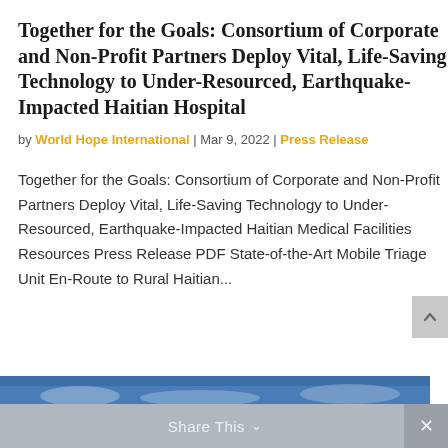Together for the Goals: Consortium of Corporate and Non-Profit Partners Deploy Vital, Life-Saving Technology to Under-Resourced, Earthquake-Impacted Haitian Hospital
by World Hope International | Mar 9, 2022 | Press Release
Together for the Goals: Consortium of Corporate and Non-Profit Partners Deploy Vital, Life-Saving Technology to Under-Resourced, Earthquake-Impacted Haitian Medical Facilities Resources Press Release PDF State-of-the-Art Mobile Triage Unit En-Route to Rural Haitian...
[Figure (photo): Bottom portion of a photo showing a sky with clouds, partially visible. Below it is a blue banner bar and a gray 'Share This' toolbar with a close button.]